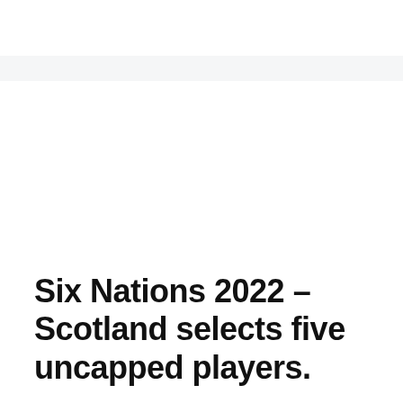Six Nations 2022 – Scotland selects five uncapped players.